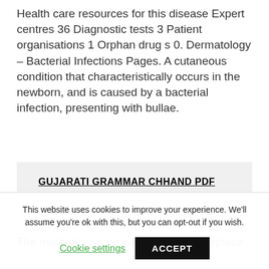Health care resources for this disease Expert centres 36 Diagnostic tests 3 Patient organisations 1 Orphan drug s 0. Dermatology – Bacterial Infections Pages. A cutaneous condition that characteristically occurs in the newborn, and is caused by a bacterial infection, presenting with bullae.
GUJARATI GRAMMAR CHHAND PDF
The material is in no way intended to replace
This website uses cookies to improve your experience. We'll assume you're ok with this, but you can opt-out if you wish.
Cookie settings
ACCEPT